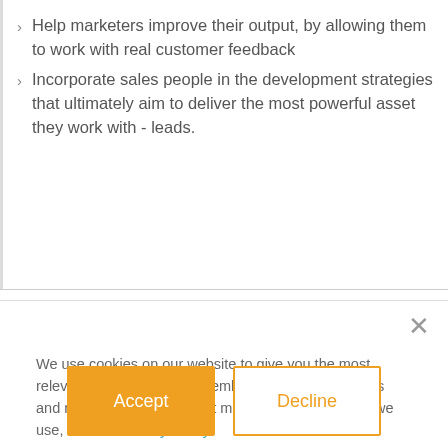Help marketers improve their output, by allowing them to work with real customer feedback
Incorporate sales people in the development strategies that ultimately aim to deliver the most powerful asset they work with - leads.
We use cookies on our website to give you the most relevant experience by remembering your preferences and repeat visits. To find out more about the cookies we use, see our Privacy Policy.
If you decline, your information won't be tracked when you visit this website. A single cookie will be used in your browser to remember your preference not to be tracked.